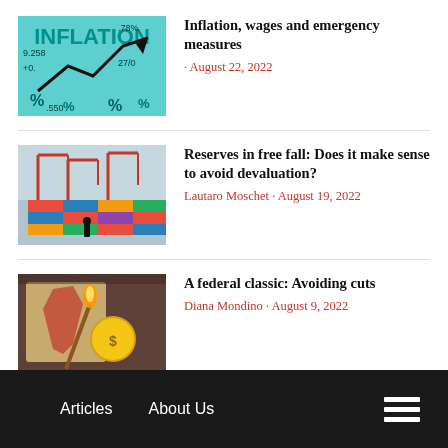[Figure (photo): Inflation-themed image with percentage signs, arrows and numbers on a teal/cyan background]
Inflation, wages and emergency measures
· August 22, 2022
[Figure (photo): Port with shipping containers and cranes, person silhouette in foreground]
Reserves in free fall: Does it make sense to avoid devaluation?
Lautaro Moschet · August 19, 2022
[Figure (photo): Hand holding a lit match near a map of Argentina, golden coin visible]
A federal classic: Avoiding cuts
Diana Mondino · August 9, 2022
Articles   About Us